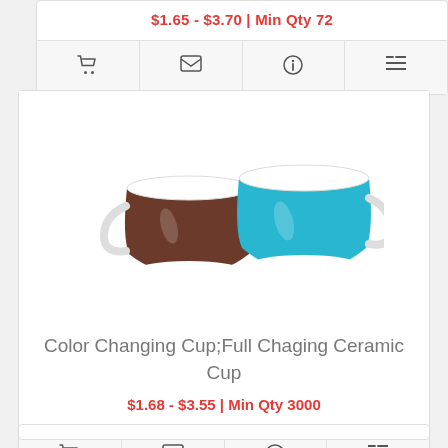$1.65 - $3.70 | Min Qty 72
[Figure (other): Action bar with 4 icon buttons: shopping cart, envelope, info, and list]
[Figure (photo): Two stacked ceramic cups side by side — one brown/dark and one turquoise/cyan color, with white rims and bases]
Color Changing Cup;Full Chaging Ceramic Cup
$1.68 - $3.55 | Min Qty 3000
[Figure (other): Action bar with 4 icon buttons: shopping cart, envelope, info, and list]